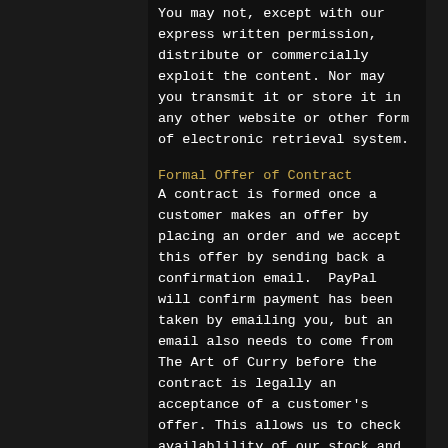You may not, except with our express written permission, distribute or commercially exploit the content. Nor may you transmit it or store it in any other website or other form of electronic retrieval system.
Formal Offer of Contract
A contract is formed once a customer makes an offer by placing an order and we accept this offer by sending back a confirmation email.  PayPal will confirm payment has been taken by emailing you, but an email also needs to come from The Art of Curry before the contract is legally an acceptance of a customer's offer. This allows us to check availablility of our stock and services and whether we are able to make up your order within a stipulated time.